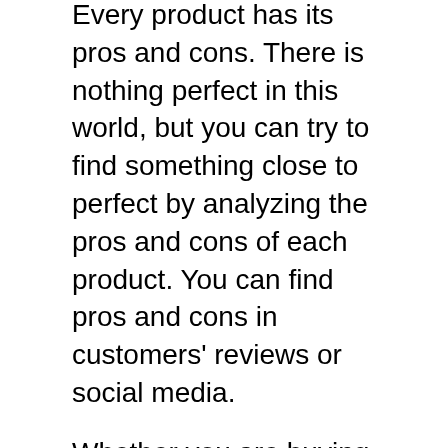Every product has its pros and cons. There is nothing perfect in this world, but you can try to find something close to perfect by analyzing the pros and cons of each product. You can find pros and cons in customers' reviews or social media.
Whether you are buying the product in person or ordering it online, take a thorough look at the design, features, and pros and cons of that product. A concise yet proper list of pros and cons will save a lot of your time. Spend your money once you are delighted with everything.
Before making your final decision, understand the working mechanism of the product you will buy. If it's the first time you